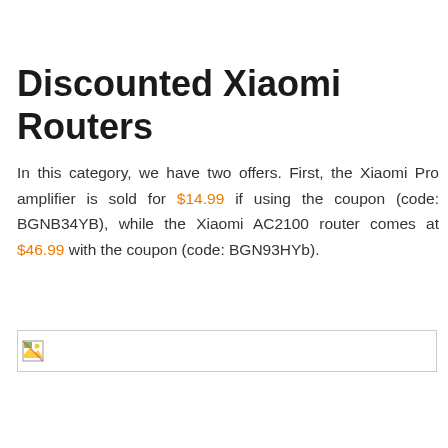Discounted Xiaomi Routers
In this category, we have two offers. First, the Xiaomi Pro amplifier is sold for $14.99 if using the coupon (code: BGNB34YB), while the Xiaomi AC2100 router comes at $46.99 with the coupon (code: BGN93HYb).
[Figure (photo): Broken/missing image placeholder icon]